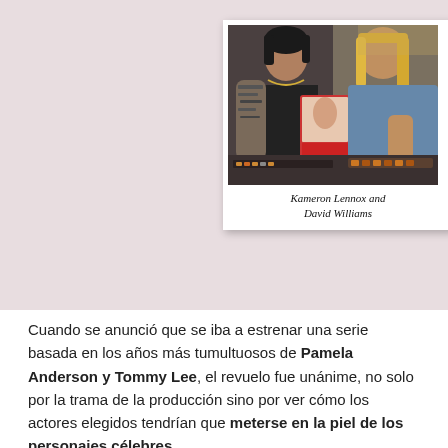[Figure (photo): A polaroid-style photograph showing two people holding a VHS tape or book. One person has tattoos and dark hair, the other has long blonde hair. Below the photo in handwritten script: 'Kameron Lennox and David Williams']
Cuando se anunció que se iba a estrenar una serie basada en los años más tumultuosos de Pamela Anderson y Tommy Lee, el revuelo fue unánime, no solo por la trama de la producción sino por ver cómo los actores elegidos tendrían que meterse en la piel de los personajes célebres.